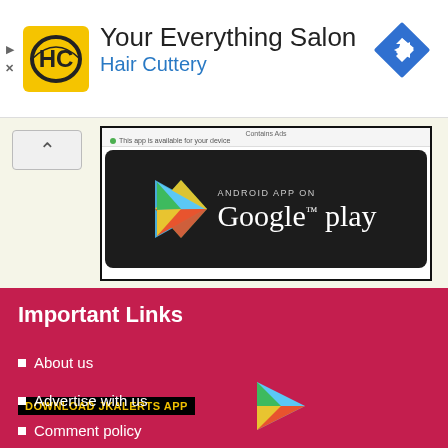[Figure (infographic): Hair Cuttery advertisement banner with HC logo, 'Your Everything Salon' title, 'Hair Cuttery' subtitle in blue, and a blue map/navigation diamond icon on the right.]
[Figure (screenshot): Screenshot of Google Play Store badge on dark background with Play Store triangle logo. Text reads 'ANDROID APP ON Google play'. Above badge shows 'Contains Ads' and 'This app is available for your device'.]
Important Links
About us
[Figure (infographic): Yellow and black banner reading 'DOWNLOAD JKALERTS APP' overlaid on the list, next to a Google Play Store triangle logo icon.]
Advertise with us
Comment policy